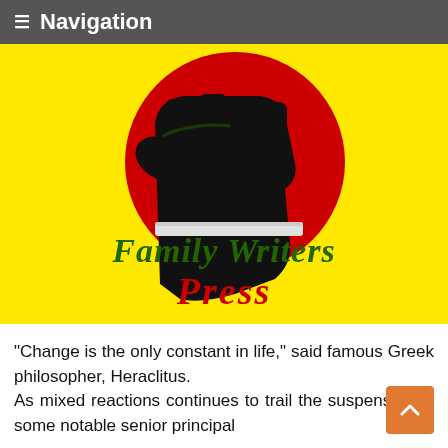≡ Navigation
[Figure (logo): Family Writers Press logo: a raised black fist holding a laptop on a red circle against a yellow background, with green script text 'Family Writers' and red script text 'Press']
"Change is the only constant in life," said famous Greek philosopher, Heraclitus.
As mixed reactions continues to trail the suspension of some notable senior principal